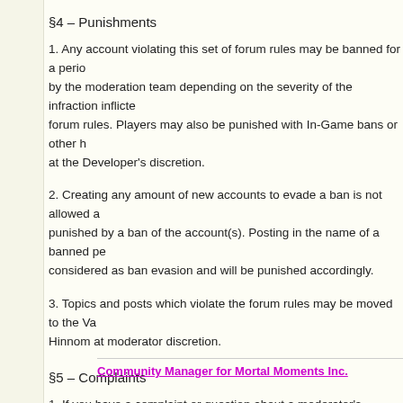§4 – Punishments
1. Any account violating this set of forum rules may be banned for a period determined by the moderation team depending on the severity of the infraction inflicted on the forum rules. Players may also be punished with In-Game bans or other measures at the Developer's discretion.
2. Creating any amount of new accounts to evade a ban is not allowed and will be punished by a ban of the account(s). Posting in the name of a banned person will be considered as ban evasion and will be punished accordingly.
3. Topics and posts which violate the forum rules may be moved to the Valley of Hinnom at moderator discretion.
§5 – Complaints
1. If you have a complaint or question about a moderator's decision, the complaint may be directed to the Community Manager via forum PM or email.
2. Posting a thread / multiple threads to resolve a situation involving a complaint about another user or a crew member is against the rules. In addition, which defined in §2.3 will apply.
Community Manager for Mortal Moments Inc.